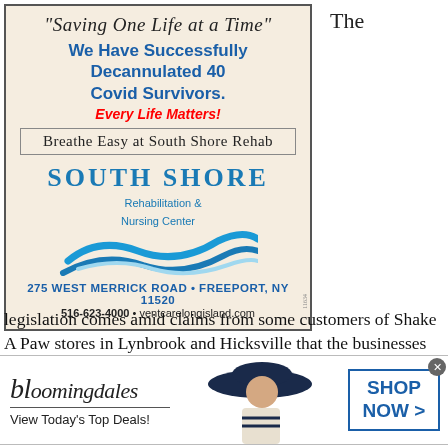The
[Figure (advertisement): South Shore Rehabilitation & Nursing Center advertisement with tagline 'Saving One Life at a Time', blue bold text about decannulating 40 Covid Survivors, red italic 'Every Life Matters!', boxed text 'Breathe Easy at South Shore Rehab', logo with wave graphic, address 275 West Merrick Road, Freeport NY 11520, phone 516-623-4000, website ventcarelongisland.com]
legislation comes amid claims from some customers of Shake A Paw stores in Lynbrook and Hicksville that the businesses knowingly sold sick
[Figure (advertisement): Bloomingdale's banner advertisement with logo, 'View Today's Top Deals!', image of woman in hat, 'SHOP NOW >' button]